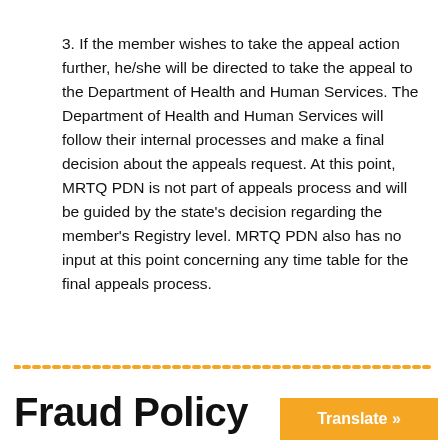3. If the member wishes to take the appeal action further, he/she will be directed to take the appeal to the Department of Health and Human Services. The Department of Health and Human Services will follow their internal processes and make a final decision about the appeals request. At this point, MRTQ PDN is not part of appeals process and will be guided by the state's decision regarding the member's Registry level. MRTQ PDN also has no input at this point concerning any time table for the final appeals process.
Fraud Policy